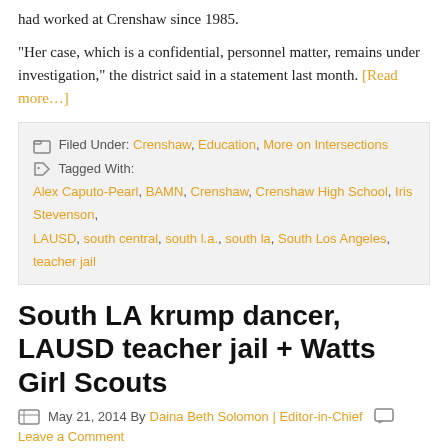had worked at Crenshaw since 1985.
“Her case, which is a confidential, personnel matter, remains under investigation,” the district said in a statement last month. [Read more…]
Filed Under: Crenshaw, Education, More on Intersections  Tagged With: Alex Caputo-Pearl, BAMN, Crenshaw, Crenshaw High School, Iris Stevenson, LAUSD, south central, south l.a., south la, South Los Angeles, teacher jail
South LA krump dancer, LAUSD teacher jail + Watts Girl Scouts
May 21, 2014 By Daina Beth Solomon | Editor-in-Chief  Leave a Comment
[Figure (infographic): Social sharing buttons: Facebook Share, Twitter Tweet, Email, Share (green), and Facebook Like 0 button]